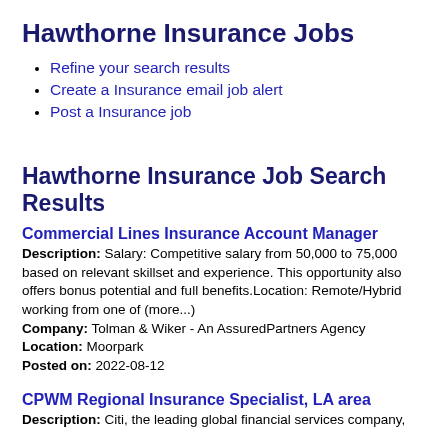Hawthorne Insurance Jobs
Refine your search results
Create a Insurance email job alert
Post a Insurance job
Hawthorne Insurance Job Search Results
Commercial Lines Insurance Account Manager
Description: Salary: Competitive salary from 50,000 to 75,000 based on relevant skillset and experience. This opportunity also offers bonus potential and full benefits.Location: Remote/Hybrid working from one of (more...) Company: Tolman & Wiker - An AssuredPartners Agency Location: Moorpark Posted on: 2022-08-12
CPWM Regional Insurance Specialist, LA area
Description: Citi, the leading global financial services company,